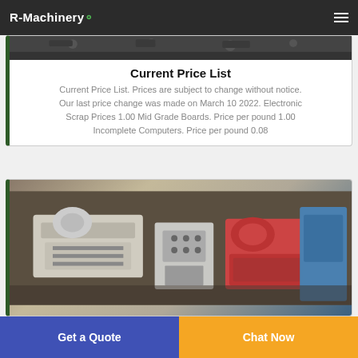R-Machinery
[Figure (photo): Partial image of machinery or equipment at top of first card]
Current Price List
Current Price List. Prices are subject to change without notice. Our last price change was made on March 10 2022. Electronic Scrap Prices 1.00 Mid Grade Boards. Price per pound 1.00 Incomplete Computers. Price per pound 0.08
[Figure (photo): Industrial recycling machinery including shredders and separators in a warehouse setting]
Get a Quote
Chat Now